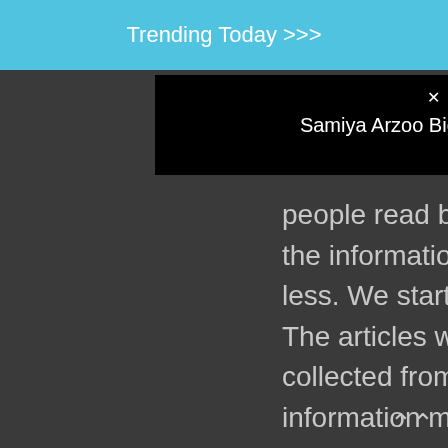Trending Today >>>
Samiya Arzoo Bio, (Pakistan Cricketer Hasan Ali Wife)
people read blogs about celebrities and the information available in the internet is less. We started this blog to fill this gap. The articles which we write here are collected from various sources. The information may sometimes not be 100% correct. Please let us know in such case.